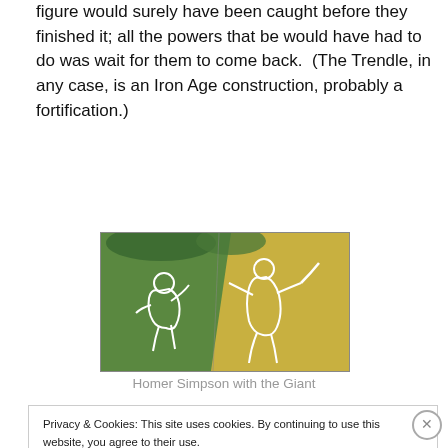figure would surely have been caught before they finished it; all the powers that be would have had to do was wait for them to come back.  (The Trendle, in any case, is an Iron Age construction, probably a fortification.)
[Figure (photo): Aerial photograph showing the Homer Simpson figure and the Cerne Abbas Giant chalk figures on hillside fields, with outlines visible in white chalk on green grass and golden crop fields.]
Homer Simpson with the Giant
Privacy & Cookies: This site uses cookies. By continuing to use this website, you agree to their use.
To find out more, including how to control cookies, see here: Cookie Policy
Close and accept